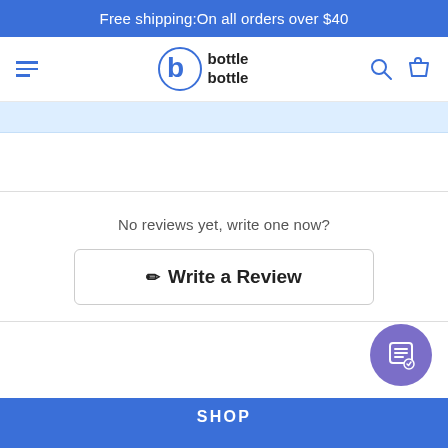Free shipping:On all orders over $40
[Figure (logo): bottle bottle logo with stylized b icon in blue]
No reviews yet, write one now?
✏ Write a Review
SHOP